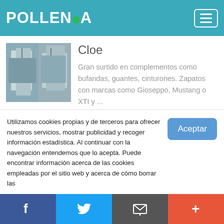POLLENÇA
y cortas en varios colores)
[Figure (photo): Clothing store front, women's clothes on racks]
Cloe
Gran surtido en complementos como bufandas, guantes, cinturones. Zapatos con marcas como Gioseppo, Mustang o XTI y ...
[Figure (photo): Boutique interior with mannequins and clothing displays]
Mestral Boutique
Somos una tienda, con espíritu joven, orientada a ofrecer la mejor calidad,
Utilizamos cookies propias y de terceros para ofrecer nuestros servicios, mostrar publicidad y recoger información estadística. Al continuar con la navegación entendemos que lo acepta. Puede encontrar información acerca de las cookies empleadas por el sitio web y acerca de cómo borrar las